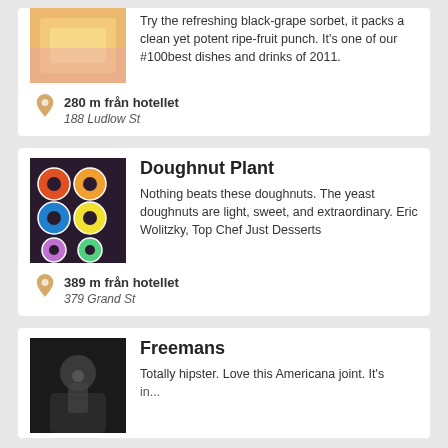[Figure (photo): Photo of food item (sorbet/dessert in a wrapper, hand holding it)]
Try the refreshing black-grape sorbet, it packs a clean yet potent ripe-fruit punch. It's one of our #100best dishes and drinks of 2011.
280 m från hotellet
188 Ludlow St
Doughnut Plant
[Figure (photo): Photo of colorful doughnuts arranged in a grid]
Nothing beats these doughnuts. The yeast doughnuts are light, sweet, and extraordinary. Eric Wolitzky, Top Chef Just Desserts
389 m från hotellet
379 Grand St
Freemans
[Figure (photo): Dark photo of a person at what appears to be a bar or restaurant]
Totally hipster. Love this Americana joint. It's in...